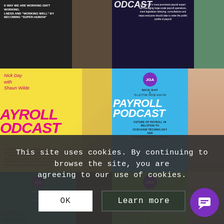[Figure (screenshot): Grid of JGA Payroll Podcast episode thumbnails showing various hosts and guests including Nick Day with Shaun Wilde, NGA HR blockchain episode, and other episodes]
This site uses cookies. By continuing to browse the site, you are agreeing to our use of cookies.
OK
Learn more